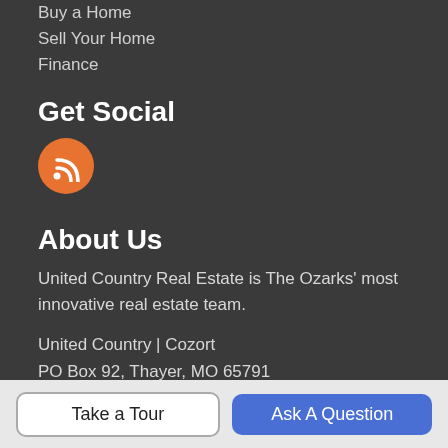Buy a Home
Sell Your Home
Finance
Get Social
[Figure (illustration): Orange circular RSS feed icon]
About Us
United Country Real Estate is The Ozarks' most innovative real estate team.
United Country | Cozort
PO Box 92, Thayer, MO 65791
📞 417-264-7288
Take a Tour  |  Ask A Question